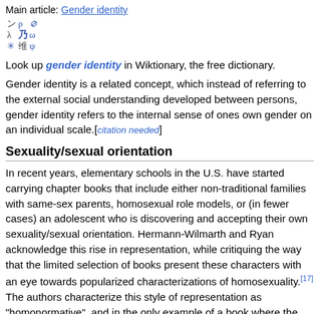Main article: Gender identity
[Figure (illustration): Wiktionary icon with Japanese/Chinese characters arranged in a small grid pattern]
Look up gender identity in Wiktionary, the free dictionary.
Gender identity is a related concept, which instead of referring to the external social understanding developed between persons, gender identity refers to the internal sense of ones own gender on an individual scale.[citation needed]
Sexuality/sexual orientation
In recent years, elementary schools in the U.S. have started carrying chapter books that include either non-traditional families with same-sex parents, homosexual role models, or (in fewer cases) an adolescent who is discovering and accepting their own sexuality/sexual orientation. Hermann-Wilmarth and Ryan acknowledge this rise in representation, while critiquing the way that the limited selection of books present these characters with an eye towards popularized characterizations of homosexuality.[17] The authors characterize this style of representation as "homonormative", and in the only example of a book where the protagonist questions their gender identity, it is left ambiguous as